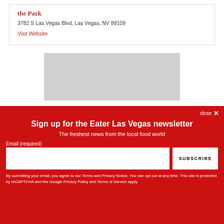3782 S Las Vegas Blvd, Las Vegas, NV 89109
Visit Website
[Figure (other): Gray placeholder advertisement box]
close ×
Sign up for the Eater Las Vegas newsletter
The freshest news from the local food world
Email (required)
SUBSCRIBE
By submitting your email, you agree to our Terms and Privacy Notice. You can opt out at any time. This site is protected by reCAPTCHA and the Google Privacy Policy and Terms of Service apply.